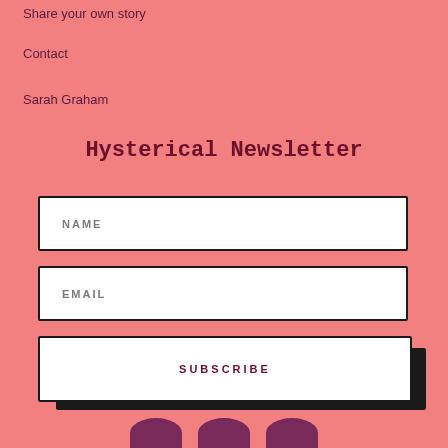Share your own story
Contact
Sarah Graham
Hysterical Newsletter
NAME
EMAIL
SUBSCRIBE